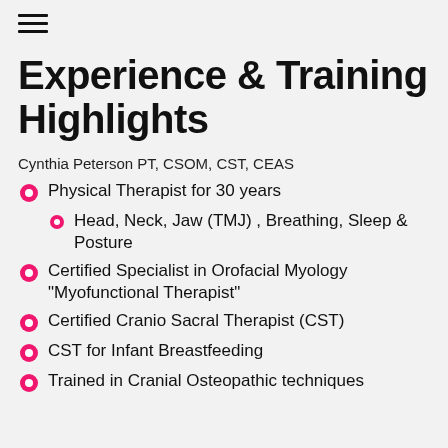☰
Experience & Training Highlights
Cynthia Peterson PT, CSOM, CST, CEAS
Physical Therapist for 30 years
Head, Neck, Jaw (TMJ) , Breathing, Sleep & Posture
Certified Specialist in Orofacial Myology "Myofunctional Therapist"
Certified Cranio Sacral Therapist (CST)
CST for Infant Breastfeeding
Trained in Cranial Osteopathic techniques